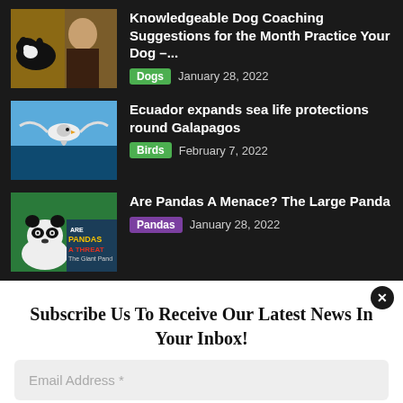Knowledgeable Dog Coaching Suggestions for the Month Practice Your Dog –... Dogs  January 28, 2022
Ecuador expands sea life protections round Galapagos  Birds  February 7, 2022
Are Pandas A Menace? The Large Panda  Pandas  January 28, 2022
Subscribe Us To Receive Our Latest News In Your Inbox!
Email Address *